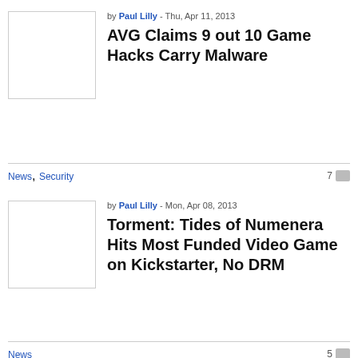by Paul Lilly - Thu, Apr 11, 2013
AVG Claims 9 out 10 Game Hacks Carry Malware
News, Security   7
by Paul Lilly - Mon, Apr 08, 2013
Torment: Tides of Numenera Hits Most Funded Video Game on Kickstarter, No DRM
News   5